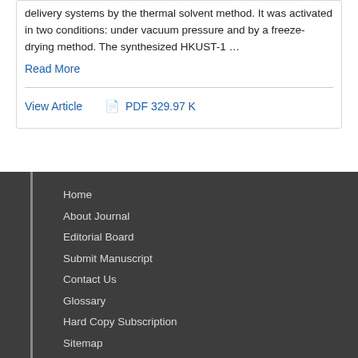delivery systems by the thermal solvent method. It was activated in two conditions: under vacuum pressure and by a freeze-drying method. The synthesized HKUST-1 ...
Read More
View Article   PDF 329.97 K
Home
About Journal
Editorial Board
Submit Manuscript
Contact Us
Glossary
Hard Copy Subscription
Sitemap